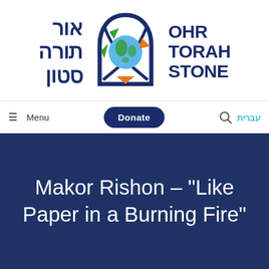[Figure (logo): Ohr Torah Stone logo with Hebrew text (אור תורה סטון), a globe/arch emblem with colored triangles, and English text OHR TORAH STONE]
≡  Menu
Donate
עברית
Makor Rishon – "Like Paper in a Burning Fire"